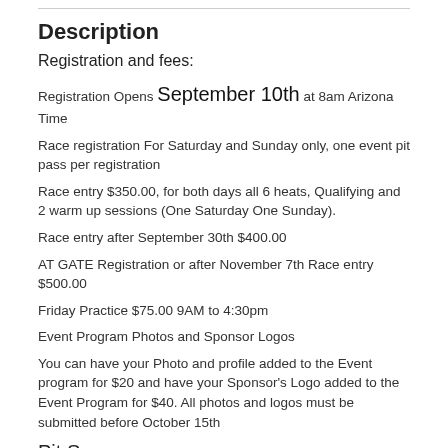Description
Registration and fees:
Registration Opens September 10th at 8am Arizona Time
Race registration For Saturday and Sunday only, one event pit pass per registration
Race entry $350.00, for both days all 6 heats, Qualifying and 2 warm up sessions (One Saturday One Sunday).
Race entry after September 30th $400.00
AT GATE Registration or after November 7th Race entry $500.00
Friday Practice $75.00 9AM to 4:30pm
Event Program Photos and Sponsor Logos
You can have your Photo and profile added to the Event program for $20 and have your Sponsor's Logo added to the Event Program for $40. All photos and logos must be submitted before October 15th
Pit Spaces